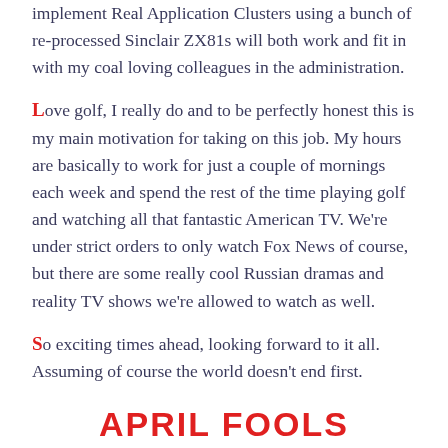implement Real Application Clusters using a bunch of re-processed Sinclair ZX81s will both work and fit in with my coal loving colleagues in the administration.
Love golf, I really do and to be perfectly honest this is my main motivation for taking on this job. My hours are basically to work for just a couple of mornings each week and spend the rest of the time playing golf and watching all that fantastic American TV. We're under strict orders to only watch Fox News of course, but there are some really cool Russian dramas and reality TV shows we're allowed to watch as well.
So exciting times ahead, looking forward to it all. Assuming of course the world doesn't end first.
APRIL FOOLS